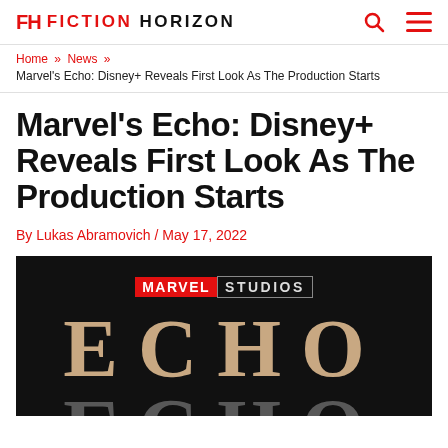FH FICTION HORIZON
Home » News » Marvel's Echo: Disney+ Reveals First Look As The Production Starts
Marvel's Echo: Disney+ Reveals First Look As The Production Starts
By Lukas Abramovich / May 17, 2022
[Figure (photo): Dark hero image showing Marvel Studios logo above large gold ECHO title text with reflection below on black background]